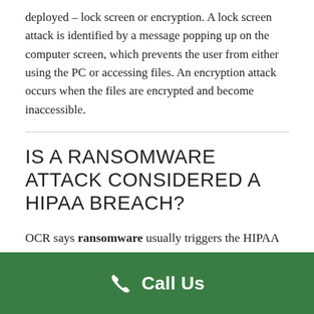deployed – lock screen or encryption. A lock screen attack is identified by a message popping up on the computer screen, which prevents the user from either using the PC or accessing files. An encryption attack occurs when the files are encrypted and become inaccessible.
IS A RANSOMWARE ATTACK CONSIDERED A HIPAA BREACH?
OCR says ransomware usually triggers the HIPAA breach notification rule
Call Us